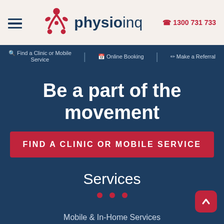[Figure (logo): Physio Inq logo with stylized human figure icon in pink/red and text 'physioinq']
1300 731 733
Find a Clinic or Mobile Service | Online Booking | Make a Referral
Be a part of the movement
FIND A CLINIC OR MOBILE SERVICE
Services
Mobile & In-Home Services
Clinic Services